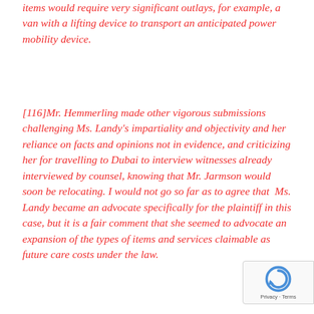items would require very significant outlays, for example, a van with a lifting device to transport an anticipated power mobility device.
[116]Mr. Hemmerling made other vigorous submissions challenging Ms. Landy's impartiality and objectivity and her reliance on facts and opinions not in evidence, and criticizing her for travelling to Dubai to interview witnesses already interviewed by counsel, knowing that Mr. Jarmson would soon be relocating. I would not go so far as to agree that Ms. Landy became an advocate specifically for the plaintiff in this case, but it is a fair comment that she seemed to advocate an expansion of the types of items and services claimable as future care costs under the law.